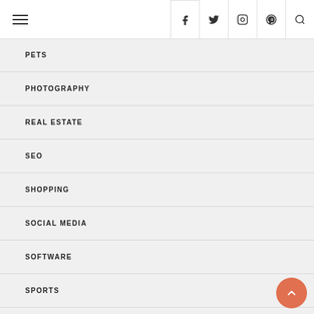Navigation header with hamburger menu and social icons (Facebook, Twitter, Instagram, Pinterest, Search)
PETS
PHOTOGRAPHY
REAL ESTATE
SEO
SHOPPING
SOCIAL MEDIA
SOFTWARE
SPORTS
TECHNOLOGY
TRAVEL